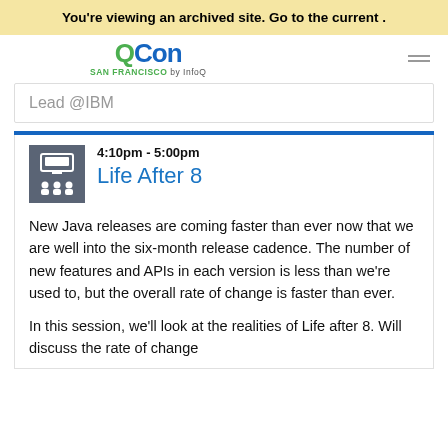You're viewing an archived site. Go to the current .
[Figure (logo): QCon San Francisco by InfoQ logo]
Lead @IBM
Life After 8
4:10pm - 5:00pm
New Java releases are coming faster than ever now that we are well into the six-month release cadence. The number of new features and APIs in each version is less than we're used to, but the overall rate of change is faster than ever.
In this session, we'll look at the realities of Life after 8. Will discuss the rate of change